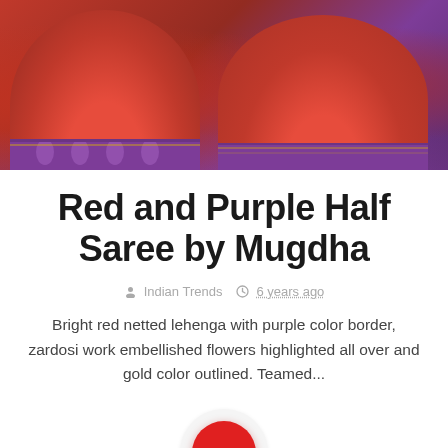[Figure (photo): A performer wearing a bright red netted lehenga with purple color border, shown on a stage with colorful lighting. Two views of the billowing red and purple half saree are visible.]
Red and Purple Half Saree by Mugdha
Indian Trends  6 years ago
Bright red netted lehenga with purple color border, zardosi work embellished flowers highlighted all over and gold color outlined. Teamed...